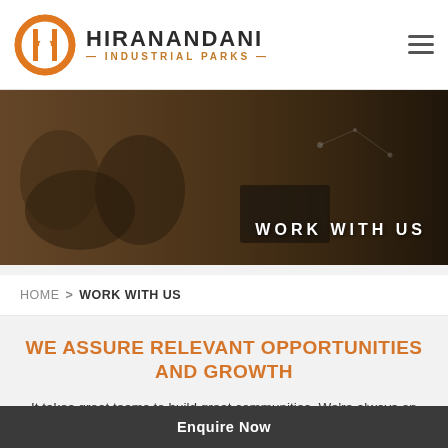[Figure (logo): Hiranandani Industrial Parks logo with orange circular emblem and company name]
[Figure (photo): Dark overhead photo of business people joining hands over a table with a laptop, with text 'WORK WITH US' on the right side]
HOME  >  WORK WITH US
WE ASSURE RELEVANT OPPORTUNITIES AND GROWTH
It takes great teams to build great communities. We're always on the lookout for exceptional talent to join the Hiranandani Industrial Park family and contribute towards
Enquire Now